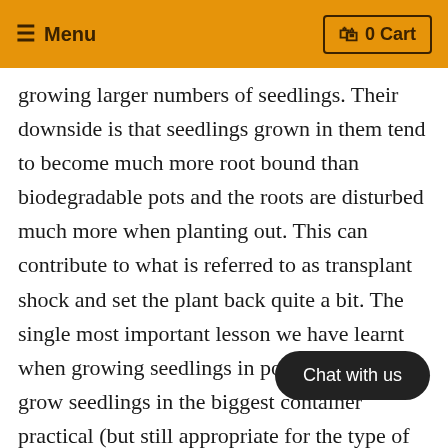≡ Menu   🧺 0 Cart
growing larger numbers of seedlings. Their downside is that seedlings grown in them tend to become much more root bound than biodegradable pots and the roots are disturbed much more when planting out. This can contribute to what is referred to as transplant shock and set the plant back quite a bit. The single most important lesson we have learnt when growing seedlings in pots is to always grow seedlings in the biggest container practical (but still appropriate for the type of plant). There is always a trade-off between this and available space, but we have consistently found the b container, the faster growing and plant is and the more it producers.
[Figure (other): Chat with us button overlay at bottom right]